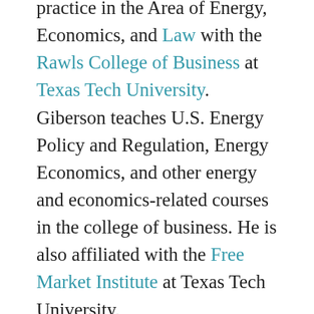practice in the Area of Energy, Economics, and Law with the Rawls College of Business at Texas Tech University. Giberson teaches U.S. Energy Policy and Regulation, Energy Economics, and other energy and economics-related courses in the college of business. He is also affiliated with the Free Market Institute at Texas Tech University.
Prior to joining Texas Tech in 2008 he was an economist with Potomac Economics, Ltd., the leading provider of independent market monitoring and economic analysis to the electric power industry. Previously, Giberson worked five years as an independent energy industry analyst, and has worked for the Critical Infrastructure Protection Project and the Interdisciplinary